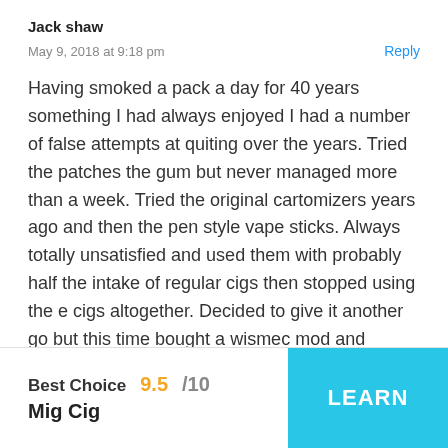Jack shaw
May 9, 2018 at 9:18 pm
Reply
Having smoked a pack a day for 40 years something I had always enjoyed I had a number of false attempts at quiting over the years. Tried the patches the gum but never managed more than a week. Tried the original cartomizers years ago and then the pen style vape sticks. Always totally unsatisfied and used them with probably half the intake of regular cigs then stopped using the e cigs altogether. Decided to give it another go but this time bought a wismec mod and decent tank and good rather than cheap juice. That was 4 weeks
Best Choice   9.5/10
Mig Cig
LEARN